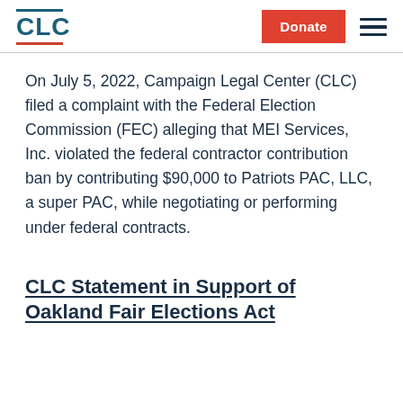CLC | Donate
On July 5, 2022, Campaign Legal Center (CLC) filed a complaint with the Federal Election Commission (FEC) alleging that MEI Services, Inc. violated the federal contractor contribution ban by contributing $90,000 to Patriots PAC, LLC, a super PAC, while negotiating or performing under federal contracts.
CLC Statement in Support of Oakland Fair Elections Act